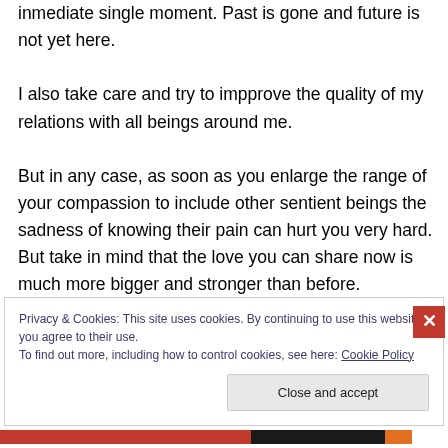inmediate single moment. Past is gone and future is not yet here.
I also take care and try to impprove the quality of my relations with all beings around me.
But in any case, as soon as you enlarge the range of your compassion to include other sentient beings the sadness of knowing their pain can hurt you very hard. But take in mind that the love you can share now is much more bigger and stronger than before.
Privacy & Cookies: This site uses cookies. By continuing to use this website, you agree to their use.
To find out more, including how to control cookies, see here: Cookie Policy
Close and accept